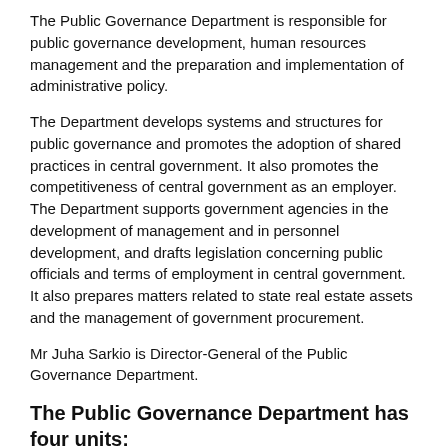The Public Governance Department is responsible for public governance development, human resources management and the preparation and implementation of administrative policy.
The Department develops systems and structures for public governance and promotes the adoption of shared practices in central government. It also promotes the competitiveness of central government as an employer. The Department supports government agencies in the development of management and in personnel development, and drafts legislation concerning public officials and terms of employment in central government. It also prepares matters related to state real estate assets and the management of government procurement.
Mr Juha Sarkio is Director-General of the Public Governance Department.
The Public Governance Department has four units:
Governance Policy Unit - Ms Katju Holkeri, Senior Ministerial Adviser, Financial Affairs
Human Resources Policy Unit - Mr Juha Madetoja, Head of Unit
Corporate Services Policy Unit - Mr Tero Meltti, Senior Ministerial